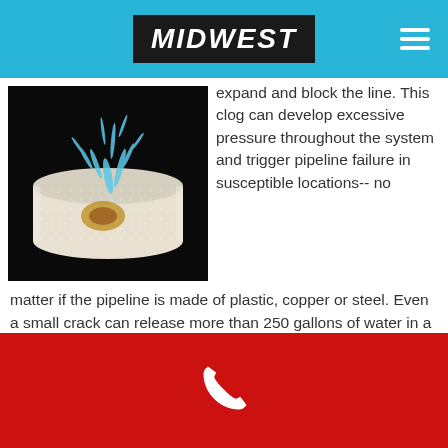MIDWEST
[Figure (photo): Close-up photo of a frozen burst pipe with water spraying out, frost visible on the white pipe, dark background]
expand and block the line. This clog can develop excessive pressure throughout the system and trigger pipeline failure in susceptible locations-- no matter if the pipeline is made of plastic, copper or steel. Even a small crack can release more than 250 gallons of water in a single day. The outcomes of frozen pipes can cause residential or commercial property damage, high repair work expenses and disruption of business.
Phone contact footer